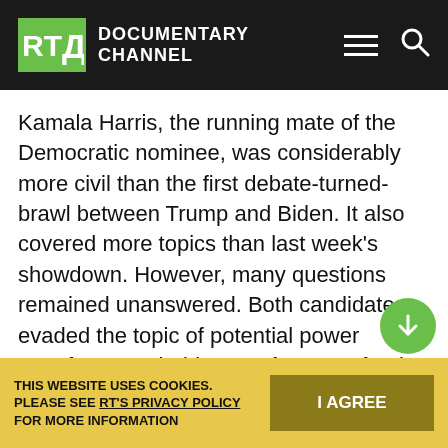RT Documentary Channel
Kamala Harris, the running mate of the Democratic nominee, was considerably more civil than the first debate-turned-brawl between Trump and Biden. It also covered more topics than last week's showdown. However, many questions remained unanswered. Both candidates evaded the topic of potential power transfer — probably, out of respect for the two oldest presidential candidates in US history (Trump at 74 and Biden at 77), in the middle of a pandemic with one of them battling COVID-19.
THIS WEBSITE USES COOKIES. PLEASE SEE RT'S PRIVACY POLICY FOR MORE INFORMATION  I AGREE